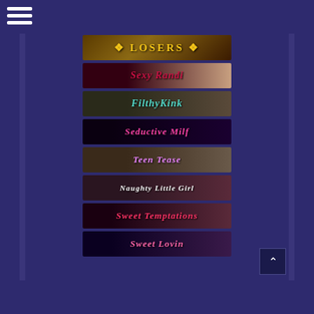[Figure (screenshot): Website navigation page showing a dark purple background with a hamburger menu icon in the top left and 8 promotional banner images stacked vertically in the center. Banners include: LOSERS, Sexy Randi, FilthyKink, Seductive Milf, Teen Tease, Naughty Little Girl, Sweet Temptations, Sweet Lovin. A back-to-top arrow button appears at the bottom right.]